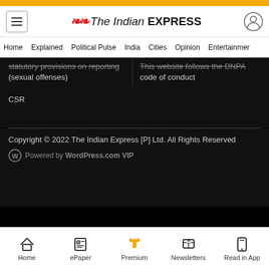The Indian EXPRESS — navigation header
statutory provisions on reporting (sexual offenses)
This website follows the DNPA code of conduct
CSR
Copyright © 2022 The Indian Express [P] Ltd. All Rights Reserved
Powered by WordPress.com VIP
Home | ePaper | Premium | Newsletters | Read in App